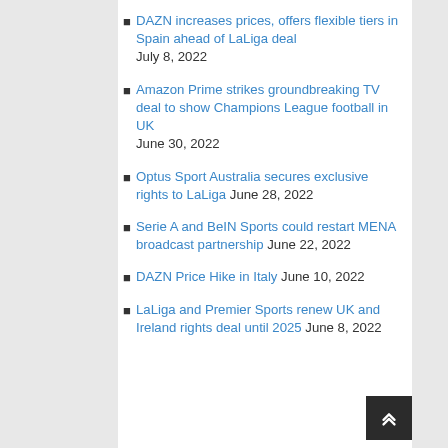DAZN increases prices, offers flexible tiers in Spain ahead of LaLiga deal July 8, 2022
Amazon Prime strikes groundbreaking TV deal to show Champions League football in UK June 30, 2022
Optus Sport Australia secures exclusive rights to LaLiga June 28, 2022
Serie A and BeIN Sports could restart MENA broadcast partnership June 22, 2022
DAZN Price Hike in Italy June 10, 2022
LaLiga and Premier Sports renew UK and Ireland rights deal until 2025 June 8, 2022